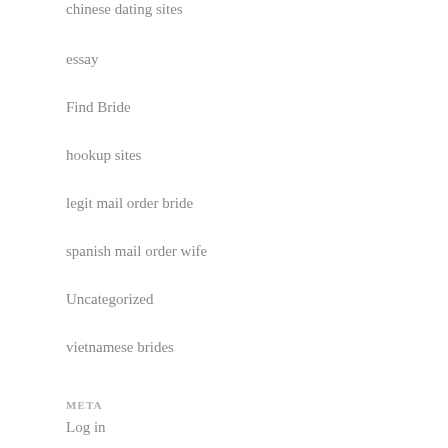chinese dating sites
essay
Find Bride
hookup sites
legit mail order bride
spanish mail order wife
Uncategorized
vietnamese brides
META
Log in
Entries feed
Comments feed